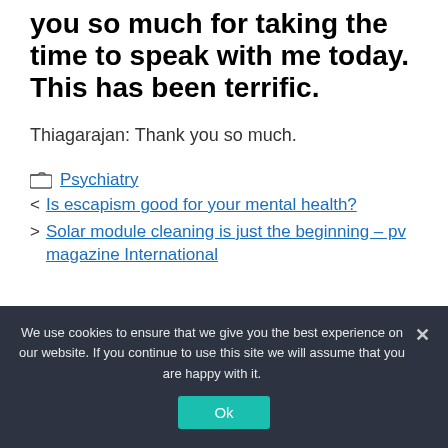you so much for taking the time to speak with me today. This has been terrific.
Thiagarajan: Thank you so much.
Psychiatry
Is escapism good for your mental health?
Solar module cleaning is just the beginning – pv magazine International
We use cookies to ensure that we give you the best experience on our website. If you continue to use this site we will assume that you are happy with it.